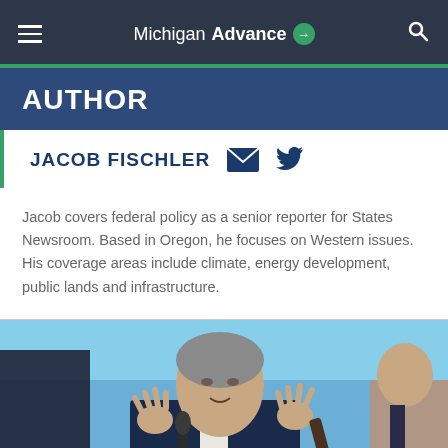Michigan Advance
AUTHOR
JACOB FISCHLER
Jacob covers federal policy as a senior reporter for States Newsroom. Based in Oregon, he focuses on Western issues. His coverage areas include climate, energy development, public lands and infrastructure.
[Figure (photo): Photo of a man speaking to reporters outdoors, gesturing with hands raised, microphones in front of him, blue sky in background]